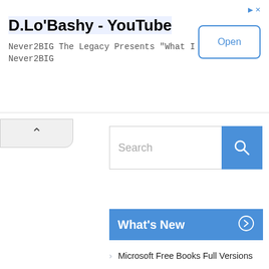D.Lo'Bashy - YouTube
Never2BIG The Legacy Presents "What I Did"
Never2BIG
[Figure (screenshot): Open button for YouTube ad]
[Figure (screenshot): Search bar with blue search button]
What's New
Microsoft Free Books Full Versions
What Are Your Career Expectations?
Career Action Plan
Tips for Effective Resume
Setting Your Career Goal and Objective